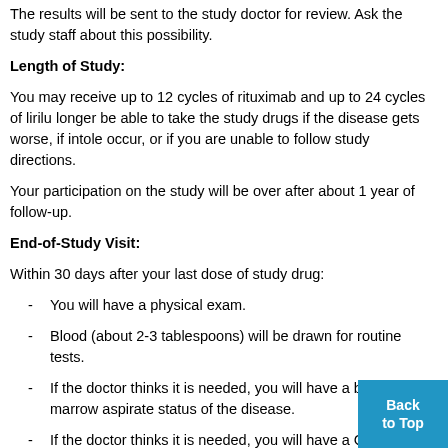The results will be sent to the study doctor for review. Ask the study staff about this possibility.
Length of Study:
You may receive up to 12 cycles of rituximab and up to 24 cycles of lirilu longer be able to take the study drugs if the disease gets worse, if intole occur, or if you are unable to follow study directions.
Your participation on the study will be over after about 1 year of follow-up.
End-of-Study Visit:
Within 30 days after your last dose of study drug:
You will have a physical exam.
Blood (about 2-3 tablespoons) will be drawn for routine tests.
If the doctor thinks it is needed, you will have a bone marrow aspirate status of the disease.
If the doctor thinks it is needed, you will have a CT or PE